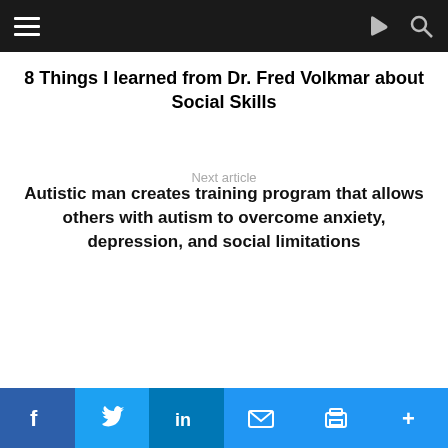Navigation bar with hamburger menu, share icon, and search icon
8 Things I learned from Dr. Fred Volkmar about Social Skills
Next article
Autistic man creates training program that allows others with autism to overcome anxiety, depression, and social limitations
[Figure (other): Advertisement box with orange border containing text 'Support The Art of Autism Inc.']
[Figure (other): Social sharing bar with Facebook, Twitter, LinkedIn, Email, Print, and Share+ buttons]